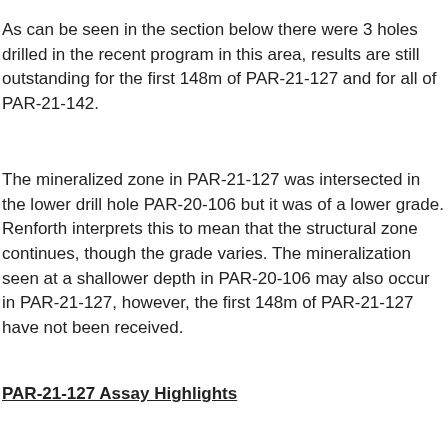As can be seen in the section below there were 3 holes drilled in the recent program in this area, results are still outstanding for the first 148m of PAR-21-127 and for all of PAR-21-142.
The mineralized zone in PAR-21-127 was intersected in the lower drill hole PAR-20-106 but it was of a lower grade. Renforth interprets this to mean that the structural zone continues, though the grade varies. The mineralization seen at a shallower depth in PAR-20-106 may also occur in PAR-21-127, however, the first 148m of PAR-21-127 have not been received.
PAR-21-127 Assay Highlights